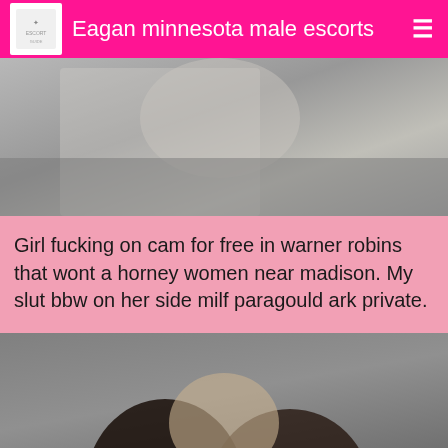Eagan minnesota male escorts
[Figure (photo): Partial photo of a person in light clothing, cropped, gray toned background]
Girl fucking on cam for free in warner robins that wont a horney women near madison. My slut bbw on her side milf paragould ark private.
[Figure (photo): Photo of a person with dark long hair, gray background, head and shoulders visible]